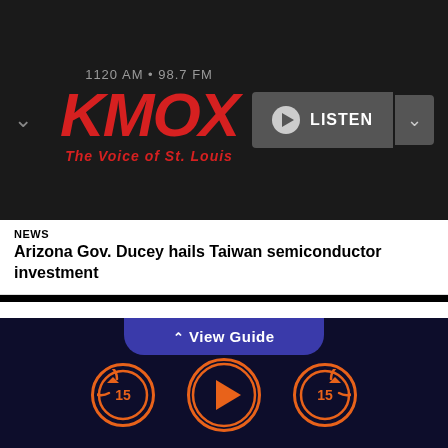[Figure (logo): KMOX radio logo with frequency 1120 AM · 98.7 FM and tagline The Voice of St. Louis, with LISTEN button and controls]
NEWS
Arizona Gov. Ducey hails Taiwan semiconductor investment
resigned from Toyota after being arrested in Japan in 2015 on suspicion of drug law violations is back at the Japanese automaker, the company said Thursday.
Julie Hamp has been hired by Toyota Motor Corp.'s
[Figure (screenshot): Bottom navigation bar with View Guide button and audio playback controls including rewind 15, play, and skip 15 buttons in orange]